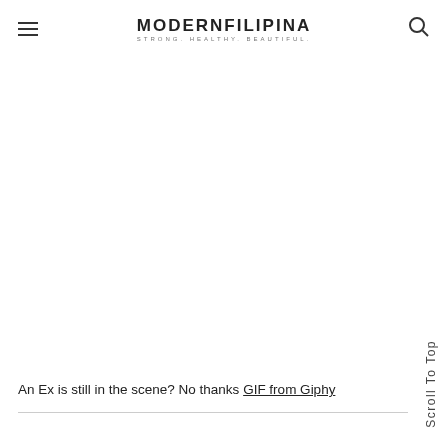MODERNFILIPINA STRONG. HEALTHY. BEAUTIFUL.
[Figure (other): Large blank/white content area placeholder (advertisement or image)]
An Ex is still in the scene? No thanks GIF from Giphy
Scroll To Top